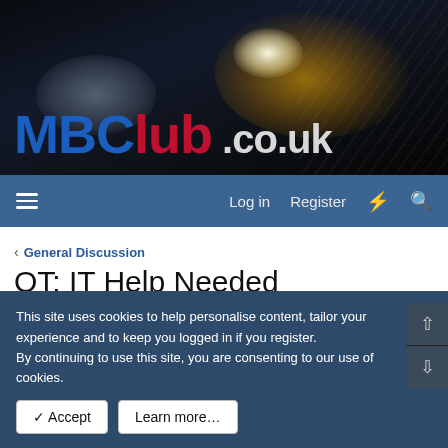[Figure (screenshot): MBClub.co.uk website banner with racing cars (yellow Mercedes and silver car) on dark background with site logo in blue and red]
Log in  Register
< General Discussion
OT: IT Help Needed
sym · Aug 28, 2003 · needed
This site uses cookies to help personalise content, tailor your experience and to keep you logged in if you register.
By continuing to use this site, you are consenting to our use of cookies.
✓ Accept  Learn more…